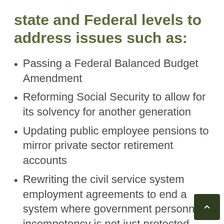state and Federal levels to address issues such as:
Passing a Federal Balanced Budget Amendment
Reforming Social Security to allow for its solvency for another generation
Updating public employee pensions to mirror private sector retirement accounts
Rewriting the civil service system employment agreements to end a system where government personnel incompetency is not just protected, but rewarded
Ensuring a constitutionally guaranteed secret ballot for all elections, including union organizing elections